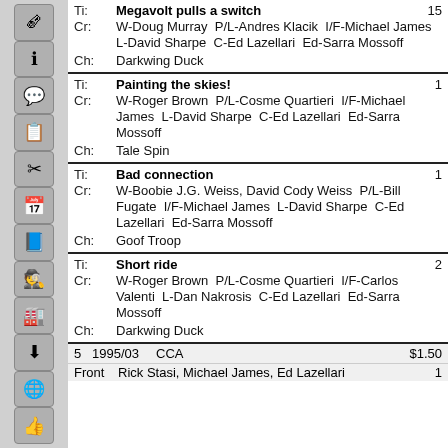Ti: Megavolt pulls a switch 15
Cr: W-Doug Murray P/L-Andres Klacik I/F-Michael James L-David Sharpe C-Ed Lazellari Ed-Sarra Mossoff
Ch: Darkwing Duck
Ti: Painting the skies! 1
Cr: W-Roger Brown P/L-Cosme Quartieri I/F-Michael James L-David Sharpe C-Ed Lazellari Ed-Sarra Mossoff
Ch: Tale Spin
Ti: Bad connection 1
Cr: W-Boobie J.G. Weiss, David Cody Weiss P/L-Bill Fugate I/F-Michael James L-David Sharpe C-Ed Lazellari Ed-Sarra Mossoff
Ch: Goof Troop
Ti: Short ride 2
Cr: W-Roger Brown P/L-Cosme Quartieri I/F-Carlos Valenti L-Dan Nakrosis C-Ed Lazellari Ed-Sarra Mossoff
Ch: Darkwing Duck
| # | Date | Publisher | Price |
| --- | --- | --- | --- |
| 5 | 1995/03 | CCA | $1.50 |
| Front | Rick Stasi, Michael James, Ed Lazellari |  | 1 |